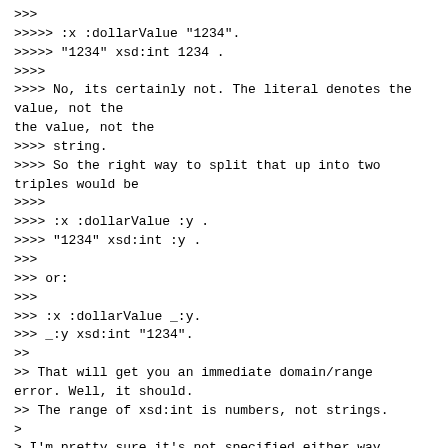>>>>
>>>>> :x :dollarValue "1234".
>>>>> "1234" xsd:int 1234 .
>>>>
>>>> No, its certainly not. The literal denotes the value, not the
>>>> string.
>>>> So the right way to split that up into two triples would be
>>>>
>>>> :x :dollarValue :y .
>>>> "1234" xsd:int :y .
>>>
>>> or:
>>>
>>> :x :dollarValue _:y.
>>> _:y xsd:int "1234".
>>
>> That will get you an immediate domain/range error. Well, it should.
>> The range of xsd:int is numbers, not strings.
>
> I'm pretty sure it's not specified either way.
>
>>> or:
>>>
>>> :x :dollarValue 1234.
>>
>> Um... is that legal RDF?